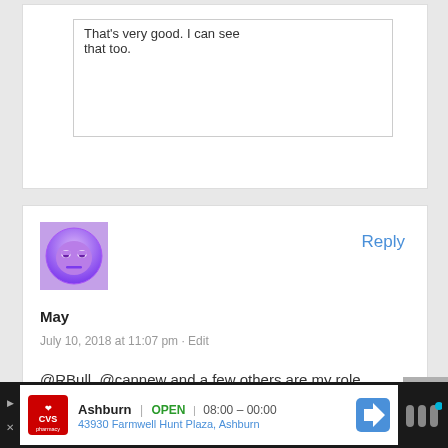That's very good. I can see that too.
[Figure (illustration): Purple avatar icon showing a cartoon face with half-closed eyes on a purple gradient background]
Reply
May
July 10, 2018 at 11:07 pm · Edit
@RBull, @cannew and a few others are my role models. Hopefully we will be able to live comfortably in retirement not too long from now.

I have learned so much here.
[Figure (screenshot): CVS Pharmacy local ad bar showing Ashburn location, OPEN 08:00-00:00, address 43930 Farmwell Hunt Plaza, Ashburn, with navigation icon]